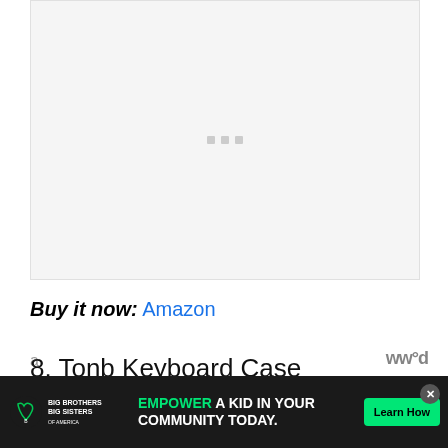[Figure (photo): Image placeholder with loading dots indicator, light gray background]
Buy it now: Amazon
8. Tonb Keyboard Case
[Figure (other): Advertisement banner: Big Brothers Big Sisters logo, EMPOWER A KID IN YOUR COMMUNITY TODAY., Learn How button, close button, partial background text and wired logo visible]